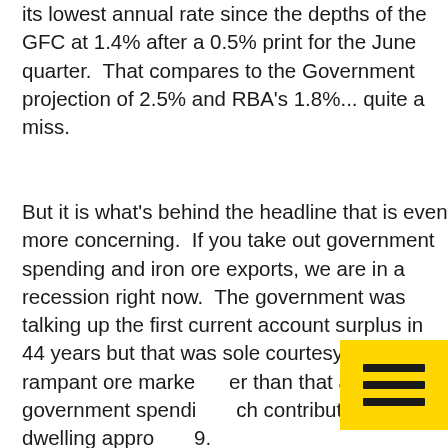its lowest annual rate since the depths of the GFC at 1.4% after a 0.5% print for the June quarter.  That compares to the Government projection of 2.5% and RBA's 1.8%... quite a miss.
But it is what's behind the headline that is even more concerning.  If you take out government spending and iron ore exports, we are in a recession right now.  The government was talking up the first current account surplus in 44 years but that was solely courtesy of the rampant ore market rather than that and government spending which contributed 0.5%, dwelling appro[obscured] 9. and investment in new and used dwellin[cut off]
[Figure (other): Yellow highlighted box with three horizontal hamburger menu lines in black, overlaying the text in the bottom-right area of the page.]